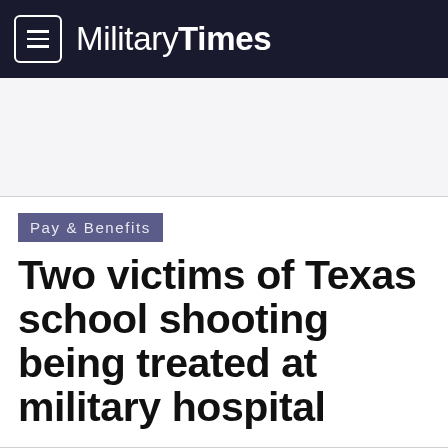Military Times
[Figure (other): Advertisement / blank space area]
Pay & Benefits
Two victims of Texas school shooting being treated at military hospital
By Karen Jowers
Wednesday, May 25